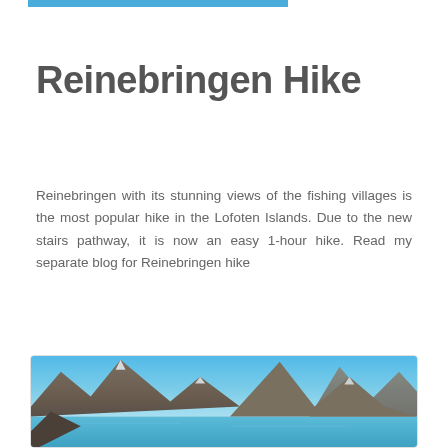Reinebringen Hike
Reinebringen with its stunning views of the fishing villages is the most popular hike in the Lofoten Islands. Due to the new stairs pathway, it is now an easy 1-hour hike. Read my separate blog for Reinebringen hike
[Figure (photo): Panoramic mountain landscape photo showing jagged peaks of the Lofoten Islands with a blue sky and fjord waters below]